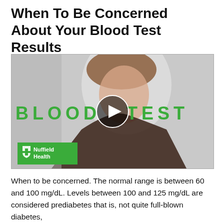When To Be Concerned About Your Blood Test Results
[Figure (screenshot): Video thumbnail showing a woman with text 'BLOOD TEST' in green letters overlaid. A play button circle is visible in the center. A Nuffield Health logo badge is in the lower left corner of the thumbnail.]
When to be concerned. The normal range is between 60 and 100 mg/dL. Levels between 100 and 125 mg/dL are considered prediabetes that is, not quite full-blown diabetes, but concerning in itself, a result above normally above 01...00